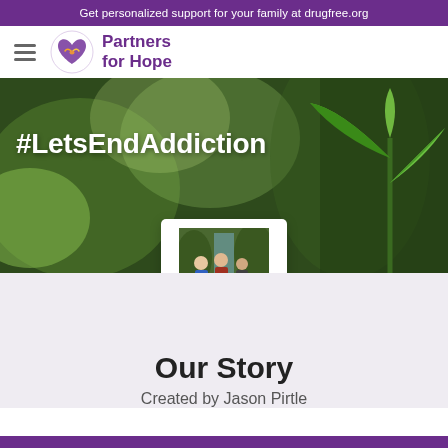Get personalized support for your family at drugfree.org
[Figure (logo): Partners for Hope logo with a heart-and-handshake icon in purple/orange/yellow and the text 'Partners for Hope' in purple]
[Figure (photo): Hero banner with blurred green bokeh/plant background and a small plant seedling on the right; contains text '#LetsEndAddiction' in white bold text; overlapping white card with photo of three people hiking on a trail]
Our Story
Created by Jason Pirtle